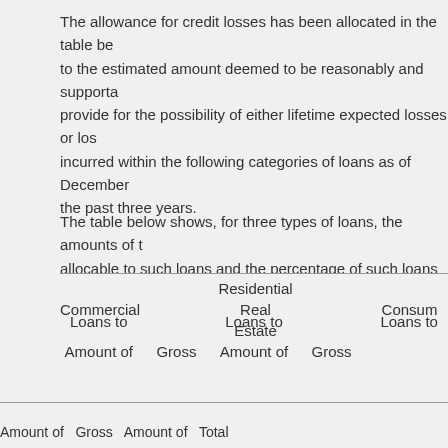The allowance for credit losses has been allocated in the table be to the estimated amount deemed to be reasonably and supporta provide for the possibility of either lifetime expected losses or los incurred within the following categories of loans as of December the past three years.
The table below shows, for three types of loans, the amounts of t allocable to such loans and the percentage of such loans to gross with the amount of the unallocated allowance. Commercial loan ty includes commercial, commercial real estate and commercial cons
| Commercial Loans to Amount of | Commercial Loans to Gross | Residential Real Estate Loans to Amount of | Residential Real Estate Loans to Gross | Consumer Loans to | Amount of | Gross | Amount of | Total |
| --- | --- | --- | --- | --- | --- | --- | --- | --- |